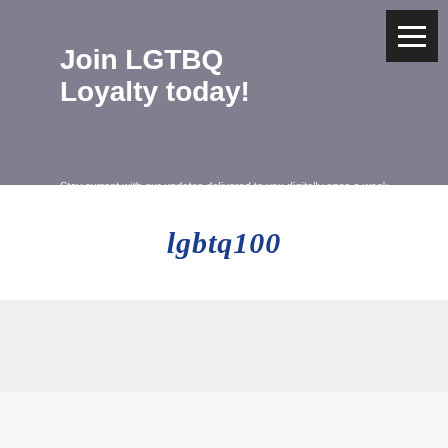Join LGTBQ Loyalty today!
Stay current with our updates delivered to you digitally once a week.
[Figure (screenshot): Email Address input field with light gray background]
[Figure (logo): lgbtq100 logo in bold italic dark blue serif font]
Trending Videos